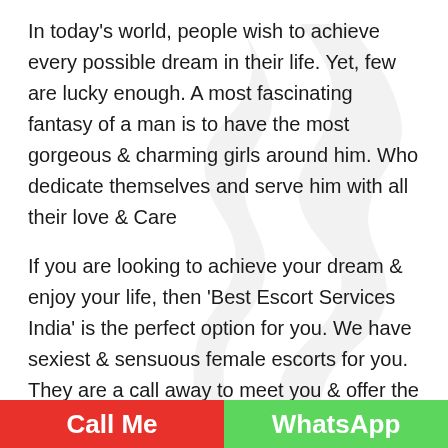In today's world, people wish to achieve every possible dream in their life. Yet, few are lucky enough. A most fascinating fantasy of a man is to have the most gorgeous & charming girls around him. Who dedicate themselves and serve him with all their love & Care
If you are looking to achieve your dream & enjoy your life, then 'Best Escort Services India' is the perfect option for you. We have sexiest & sensuous female escorts for you. They are a call away to meet you & offer the real erotic pleasure. So don't hesitate anymore, Call us to hire the Escort service in Jaipur.
We believe that sex is an essential need for everyone.
Call Me   WhatsApp